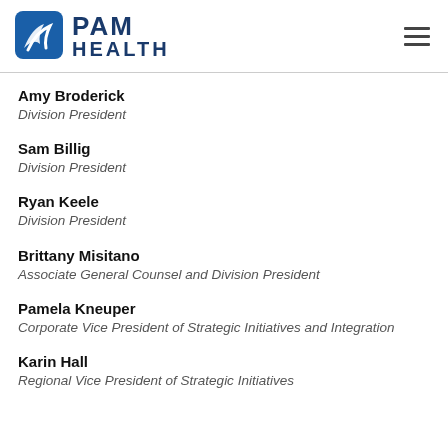PAM Health
Amy Broderick
Division President
Sam Billig
Division President
Ryan Keele
Division President
Brittany Misitano
Associate General Counsel and Division President
Pamela Kneuper
Corporate Vice President of Strategic Initiatives and Integration
Karin Hall
Regional Vice President of Strategic Initiatives